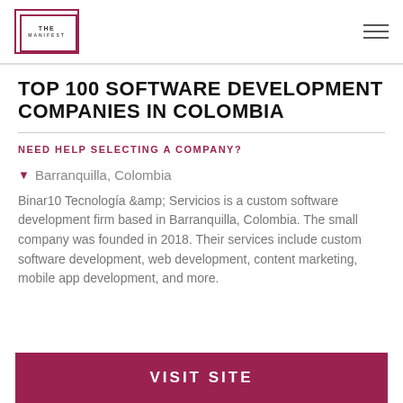THE MANIFEST
TOP 100 SOFTWARE DEVELOPMENT COMPANIES IN COLOMBIA
NEED HELP SELECTING A COMPANY?
Barranquilla, Colombia
Binar10 Tecnología &amp; Servicios is a custom software development firm based in Barranquilla, Colombia. The small company was founded in 2018. Their services include custom software development, web development, content marketing, mobile app development, and more.
VISIT SITE